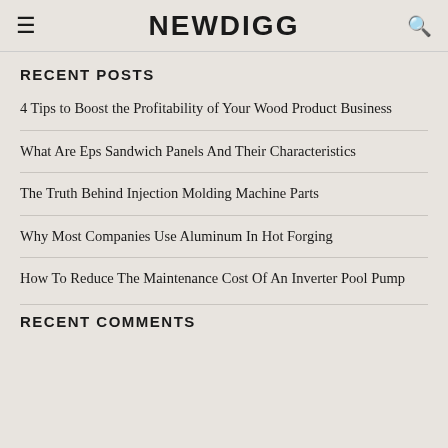NEWDIGG
RECENT POSTS
4 Tips to Boost the Profitability of Your Wood Product Business
What Are Eps Sandwich Panels And Their Characteristics
The Truth Behind Injection Molding Machine Parts
Why Most Companies Use Aluminum In Hot Forging
How To Reduce The Maintenance Cost Of An Inverter Pool Pump
RECENT COMMENTS